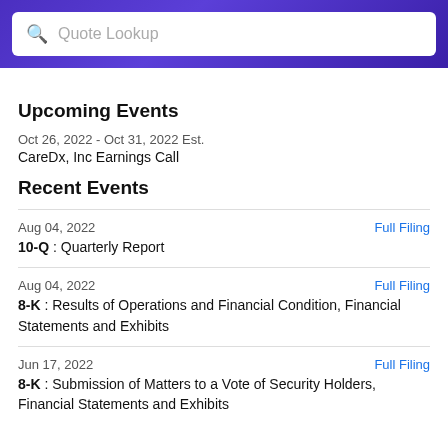[Figure (screenshot): Search bar with purple/blue gradient background and white search input with 'Quote Lookup' placeholder text]
Upcoming Events
Oct 26, 2022 - Oct 31, 2022 Est.
CareDx, Inc Earnings Call
Recent Events
Aug 04, 2022
10-Q : Quarterly Report
Full Filing
Aug 04, 2022
8-K : Results of Operations and Financial Condition, Financial Statements and Exhibits
Full Filing
Jun 17, 2022
8-K : Submission of Matters to a Vote of Security Holders, Financial Statements and Exhibits
Full Filing